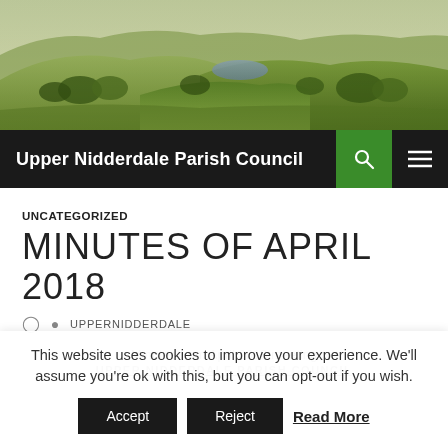[Figure (photo): Aerial landscape photo of Yorkshire Dales valley with green hills, trees, and a reservoir in the background under warm light]
Upper Nidderdale Parish Council
UNCATEGORIZED
MINUTES OF APRIL 2018
UPPERNIDDERDALE
Minutes from April 2018 meeting
UPPER NIDDERDALE PARISH COUNCIL
This website uses cookies to improve your experience. We'll assume you're ok with this, but you can opt-out if you wish.  Accept  Reject  Read More